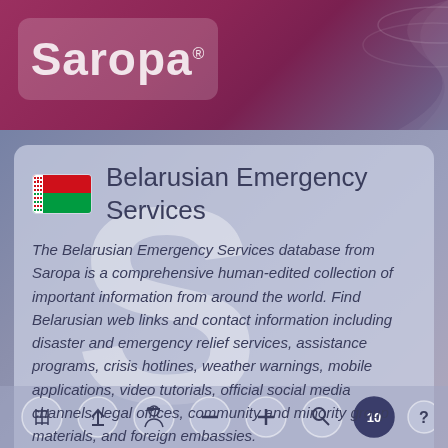[Figure (logo): Saropa logo in white text on purple-pink rounded rectangle background with decorative swoosh curves]
Belarusian Emergency Services
The Belarusian Emergency Services database from Saropa is a comprehensive human-edited collection of important information from around the world. Find Belarusian web links and contact information including disaster and emergency relief services, assistance programs, crisis hotlines, weather warnings, mobile applications, video tutorials, official social media channels, legal offices, community and minority group materials, and foreign embassies.
Emergency Services
[Figure (screenshot): Toolbar with circular icon buttons: grid/table, upload/import, person with hat, minus/remove, plus/add, search/magnifier, active dark blue circle with number 10, question mark]